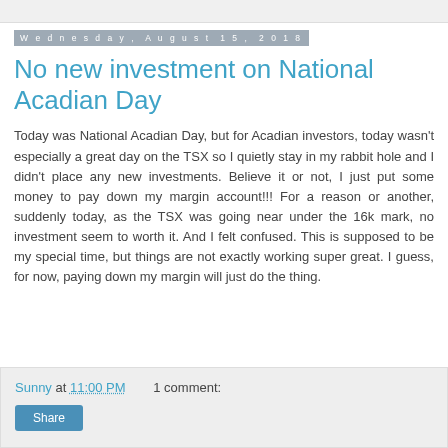Wednesday, August 15, 2018
No new investment on National Acadian Day
Today was National Acadian Day, but for Acadian investors, today wasn't especially a great day on the TSX so I quietly stay in my rabbit hole and I didn't place any new investments. Believe it or not, I just put some money to pay down my margin account!!! For a reason or another, suddenly today, as the TSX was going near under the 16k mark, no investment seem to worth it. And I felt confused. This is supposed to be my special time, but things are not exactly working super great. I guess, for now, paying down my margin will just do the thing.
Sunny at 11:00 PM    1 comment: